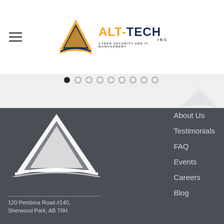[Figure (logo): ALT-TECH INC logo with triangle/mountain graphic, orange and dark blue text reading ALT-TECH INC, CYBER SECURITY AND IT MANAGEMENT]
[Figure (infographic): Slider navigation dots, 9 dots total, first dot filled/active, rest are gray outlines]
[Figure (photo): Light gray hero/banner area with faint ghost logo of ALT-TECH in upper right]
[Figure (logo): ALT-TECH INC white logo on dark gray footer background, CYBER SECURITY AND IT MANAGEMENT subtitle]
About Us
Testimonials
FAQ
Events
Careers
Blog
120 Pembina Road #140, Sherwood Park, AB T8H